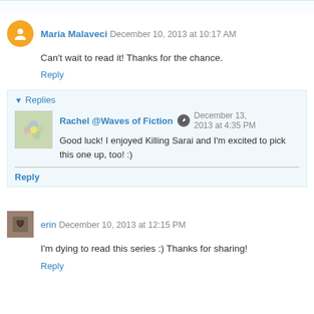Maria Malaveci December 10, 2013 at 10:17 AM
Can't wait to read it! Thanks for the chance.
Reply
Replies
Rachel @Waves of Fiction December 13, 2013 at 4:35 PM
Good luck! I enjoyed Killing Sarai and I'm excited to pick this one up, too! :)
Reply
erin December 10, 2013 at 12:15 PM
I'm dying to read this series :) Thanks for sharing!
Reply